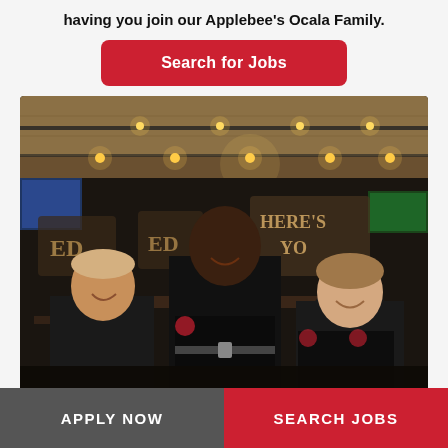having you join our Applebee's Ocala Family.
Search for Jobs
[Figure (photo): Three Applebee's restaurant staff members wearing black uniforms laughing together inside an Applebee's restaurant with track lighting, wood ceiling, and bar seating visible in the background.]
APPLY NOW
SEARCH JOBS